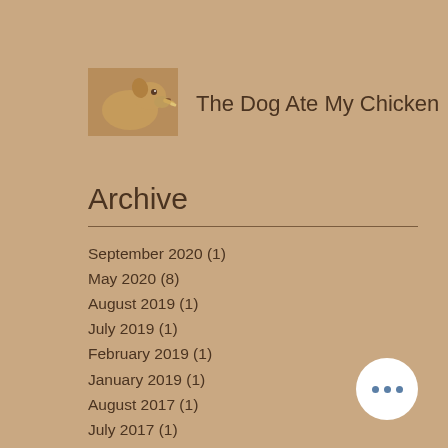[Figure (photo): A dog holding a chicken drumstick in its mouth]
The Dog Ate My Chicken
Archive
September 2020 (1)
May 2020 (8)
August 2019 (1)
July 2019 (1)
February 2019 (1)
January 2019 (1)
August 2017 (1)
July 2017 (1)
April 2017 (1)
February 2017 (3)
January 2017 (1)
December 2016 (1)